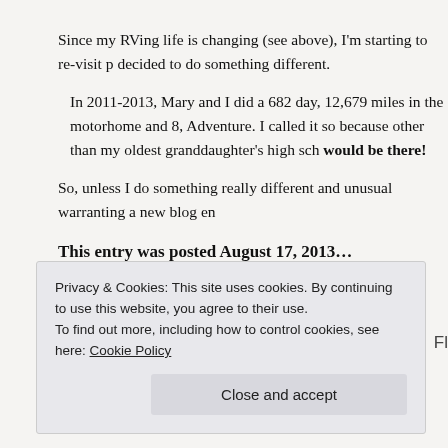Since my RVing life is changing (see above), I'm starting to re-visit p decided to do something different.
In 2011-2013, Mary and I did a 682 day, 12,679 miles in the motorhome and 8, Adventure. I called it so because other than my oldest granddaughter's high sch would be there!
So, unless I do something really different and unusual warranting a new blog en
This entry was posted August 17, 2013...
Privacy & Cookies: This site uses cookies. By continuing to use this website, you agree to their use.
To find out more, including how to control cookies, see here: Cookie Policy

Close and accept